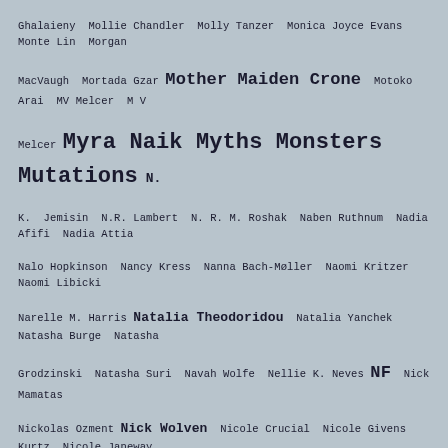Ghalaieny Mollie Chandler Molly Tanzer Monica Joyce Evans Monte Lin Morgan MacVaugh Mortada Gzar Mother Maiden Crone Motoko Arai MV Melcer M V Melcer Myra Naik Myths Monsters Mutations N. K. Jemisin N.R. Lambert N. R. M. Roshak Naben Ruthnum Nadia Afifi Nadia Attia Nalo Hopkinson Nancy Kress Nanna Bach-Møller Naomi Kritzer Naomi Libicki Narelle M. Harris Natalia Theodoridou Natalia Yanchek Natasha Burge Natasha Grodzinski Natasha Suri Navah Wolfe Nellie K. Neves NF Nick Mamatas Nickolas Ozment Nick Wolven Nicole Crucial Nicole Givens Kurtz Nicole Janeway Nicole Lungerhausen Nicole Robb Nightmare Magazine Niki Kools Nikki Blakely Nikoline Kaiser Nisi Shawl Noeleen Kavanagh No Man Of Woman Born Noor Hemani Norman Spinrad Nuzo Onoh O. J. Cade Octavia E. Butler Odida Nyabundi Oghenchovwe Donald Ekpeki Olga Kolesnikova Oliver Herbort Orrin Grey Osahon Ize-Iyamu P P. A. Cornell P. Djèli Clark P. K. Torrens Palestine+100 Pamela Love Patrice Rivara Patricia Correll Patricia Russo Patrick Barth Patrick Bollivar Patrick S. Baker Paul Crenshaw Paul Di